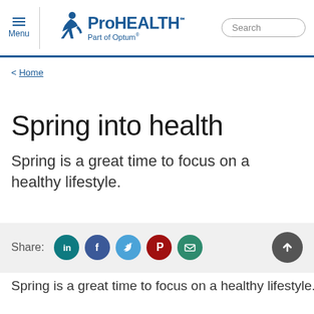ProHEALTH℠ Part of Optum®
< Home
Spring into health
Spring is a great time to focus on a healthy lifestyle.
Share:
Spring is a great time to focus on a healthy lifestyle.